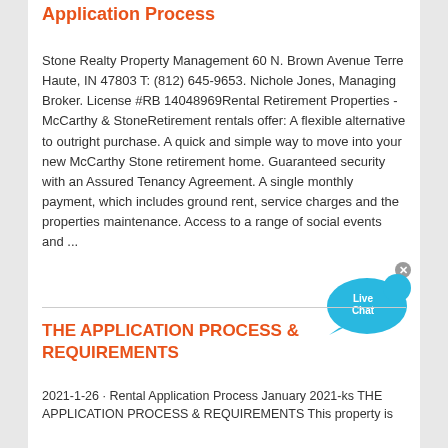Application Process
Stone Realty Property Management 60 N. Brown Avenue Terre Haute, IN 47803 T: (812) 645-9653. Nichole Jones, Managing Broker. License #RB 14048969Rental Retirement Properties - McCarthy & StoneRetirement rentals offer: A flexible alternative to outright purchase. A quick and simple way to move into your new McCarthy Stone retirement home. Guaranteed security with an Assured Tenancy Agreement. A single monthly payment, which includes ground rent, service charges and the properties maintenance. Access to a range of social events and ...
THE APPLICATION PROCESS & REQUIREMENTS
2021-1-26 · Rental Application Process January 2021-ks THE APPLICATION PROCESS & REQUIREMENTS This property is